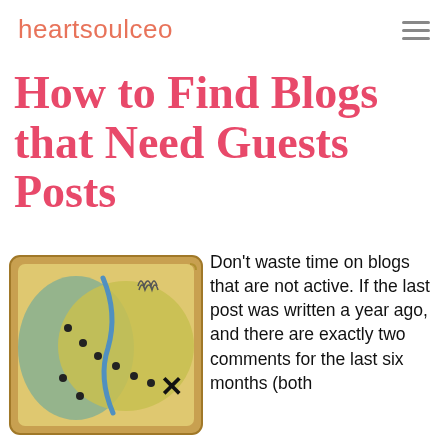heartsoulceo
How to Find Blogs that Need Guests Posts
[Figure (illustration): Illustration of a treasure map with green and yellow land masses, a dotted path trail, a blue river, and an X marking the spot, with a brown curled edge border.]
Don't waste time on blogs that are not active. If the last post was written a year ago, and there are exactly two comments for the last six months (both by the owner's mother) it's going to be more pain than gain. Furthermore, it's a sure sign the owner may just be too busy (or too disorganized) to